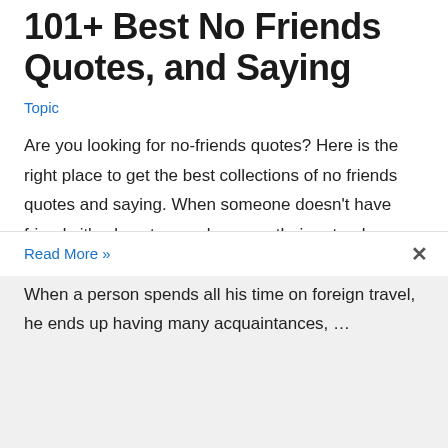101+ Best No Friends Quotes, and Saying
Topic
Are you looking for no-friends quotes? Here is the right place to get the best collections of no friends quotes and saying. When someone doesn't have friends it's almost never because their natural personality is unlikable. Everywhere is nowhere. When a person spends all his time on foreign travel, he ends up having many acquaintances, …
Read More »